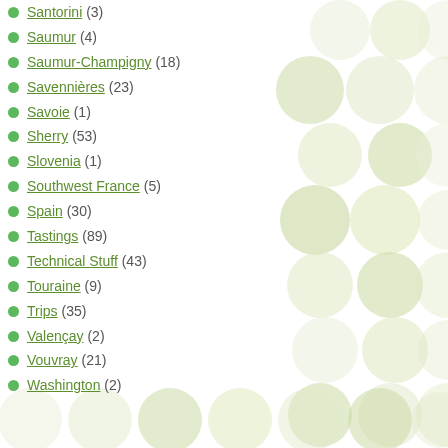Santorini (3)
Saumur (4)
Saumur-Champigny (18)
Savennières (23)
Savoie (1)
Sherry (53)
Slovenia (1)
Southwest France (5)
Spain (30)
Tastings (89)
Technical Stuff (43)
Touraine (9)
Trips (35)
Valençay (2)
Vouvray (21)
Washington (2)